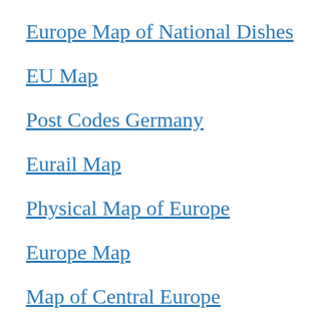Europe Map of National Dishes
EU Map
Post Codes Germany
Eurail Map
Physical Map of Europe
Europe Map
Map of Central Europe
Map of Eastern Europe